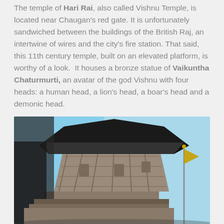The temple of Hari Rai, also called Vishnu Temple, is located near Chaugan's red gate. It is unfortunately sandwiched between the buildings of the British Raj, an intertwine of wires and the city's fire station. That said, this 11th century temple, built on an elevated platform, is worthy of a look. It houses a bronze statue of Vaikuntha Chaturmurti, an avatar of the god Vishnu with four heads: a human head, a lion's head, a boar's head and a demonic head.
[Figure (photo): A photograph of an ancient Hindu temple (Hari Rai / Vishnu Temple) with a distinctive octagonal dark wooden roof structure and ornately carved stone tower, photographed from a low angle against a clear blue sky. A flagpole with a pennant is visible on the right.]